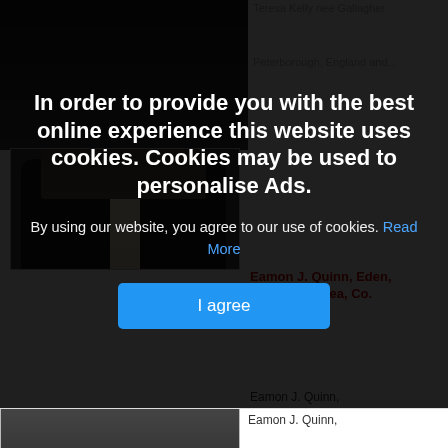[Figure (photo): Partially visible dark background with blurred face at top, and a man in a dark suit visible in the lower portion of the left column]
Teresa Kelly nee Gallagher
Peterborough, England and...
[Figure (screenshot): Cookie consent overlay dialog box with dark semi-transparent background covering most of the page]
In order to provide you with the best online experience this website uses cookies. Cookies may be used to personalise Ads.
By using our website, you agree to our use of cookies. Read More
I agree
Eamon J. Quinn, Eden, ount, Castlerea, Co. mon
Eamon J. Quinn,
Eden, Fairymount, Castlerea, Co. Roscommon - peacefully at University...
[Figure (photo): Black background with orange flame candle image]
Jul 29, 2022
Patrick Anthony Heanue, Derryinver, Letterfrack, Co. Galway
Patrick Anthony Heanue,
Derryinver, Letterfrack, Co. Galway.
Peacefully at Christ the...